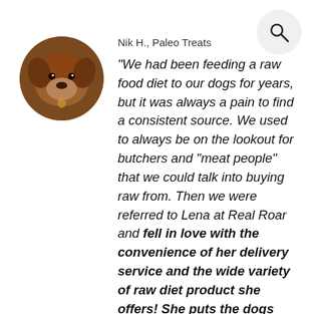[Figure (photo): Circular avatar photo of a dog (brown/reddish) lying on a surface, looking at the camera with a collar tag visible.]
Nik H., Paleo Treats
"We had been feeding a raw food diet to our dogs for years, but it was always a pain to find a consistent source. We used to always be on the lookout for butchers and “meat people” that we could talk into buying raw from. Then we were referred to Lena at Real Roar and fell in love with the convenience of her delivery service and the wide variety of raw diet product she offers! She puts the dogs health first above all else. And we are continually amazed at how flexible she is